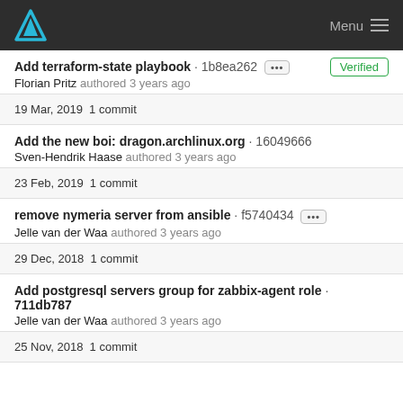Arch Linux logo · Menu
Add terraform-state playbook · 1b8ea262 ... Verified
Florian Pritz authored 3 years ago
19 Mar, 2019 1 commit
Add the new boi: dragon.archlinux.org · 16049666
Sven-Hendrik Haase authored 3 years ago
23 Feb, 2019 1 commit
remove nymeria server from ansible · f5740434 ...
Jelle van der Waa authored 3 years ago
29 Dec, 2018 1 commit
Add postgresql servers group for zabbix-agent role · 711db787
Jelle van der Waa authored 3 years ago
25 Nov, 2018 1 commit